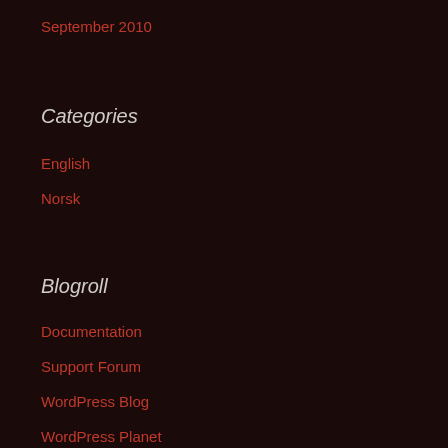September 2010
Categories
English
Norsk
Blogroll
Documentation
Support Forum
WordPress Blog
WordPress Planet